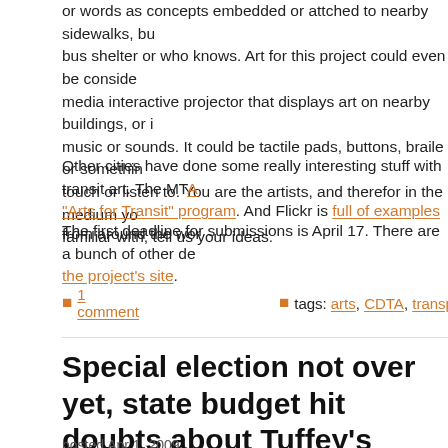or words as concepts embedded or attched to nearby sidewalks, bus shelter or who knows. Art for this project could even be considered a media interactive projector that displays art on nearby buildings, or it could be music or sounds. It could be tactile pads, buttons, braile or something to touch or listen to. You are the artists, and therefor in the medium you are familiar with, tell us your ideas.
Other cities have done some really interesting stuff with transit art. The MTA "Arts for Transit" program. And Flickr is full of examples from around the world.
The first deadline for submissions is April 17. There are a bunch of other deadlines listed on the project's site.
1 comment          tags: arts, CDTA, transportation
Special election not over yet, state budget hit, doubts about Tuffey's ghost ticket testimony, fare hike takes effect, milk spilled in Troy
posted Apr 1, 2009
The special election in the 20th Congressional District isn't over. Initial tallies: Scott Murphy leads Jim Todisco by as few as 59 votes and as many as 60...